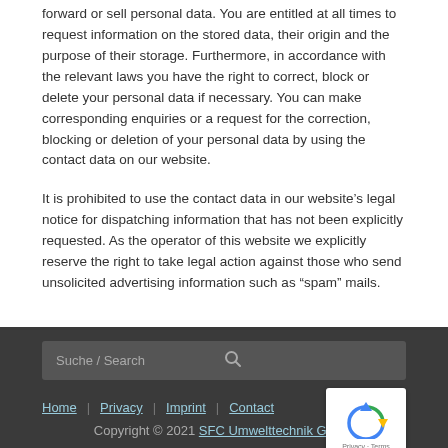forward or sell personal data. You are entitled at all times to request information on the stored data, their origin and the purpose of their storage. Furthermore, in accordance with the relevant laws you have the right to correct, block or delete your personal data if necessary. You can make corresponding enquiries or a request for the correction, blocking or deletion of your personal data by using the contact data on our website.
It is prohibited to use the contact data in our website's legal notice for dispatching information that has not been explicitly requested. As the operator of this website we explicitly reserve the right to take legal action against those who send unsolicited advertising information such as “spam” mails.
Suche / Search | Home | Privacy | Imprint | Contact | Copyright © 2021 SFC Umwelttechnik GmbH